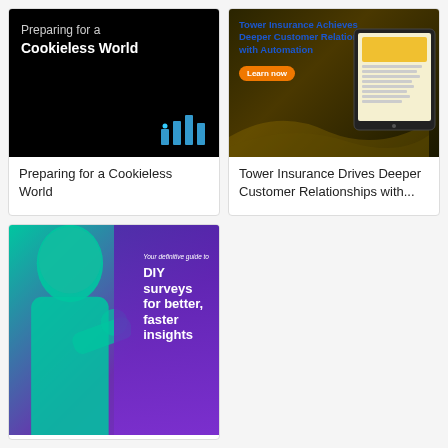[Figure (illustration): Black background card image with text 'Preparing for a Cookieless World' and bar chart icon in teal/blue]
Preparing for a Cookieless World
[Figure (illustration): Tower Insurance card image with dark background, text 'Tower Insurance Achieves Deeper Customer Relationships with Automation', orange Learn now button, and tablet device showing document]
Tower Insurance Drives Deeper Customer Relationships with...
[Figure (illustration): DIY surveys card image with teal and purple gradient background, person silhouette, text 'Your definitive guide to DIY surveys for better, faster insights']